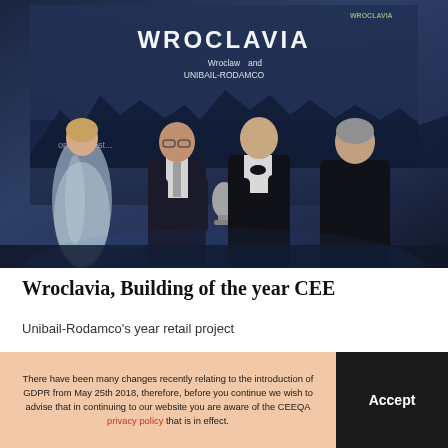[Figure (photo): Award ceremony photo showing four people on stage. A woman in a silver dress on the left, two men in dark suits in the center exchanging a trophy/award, and another man on the right. Background shows a screen with 'WROCLAVIA' text and 'Wroclaw' and 'UNIBAIL-RODAMCO' branding.]
Wroclavia, Building of the year CEE
Unibail-Rodamco's year retail project
There have been many changes recently relating to the introduction of GDPR from May 25th 2018, therefore, before you continue we wish to advise that in continuing to our website you are aware of the CEEQA privacy policy that is in effect.
Accept